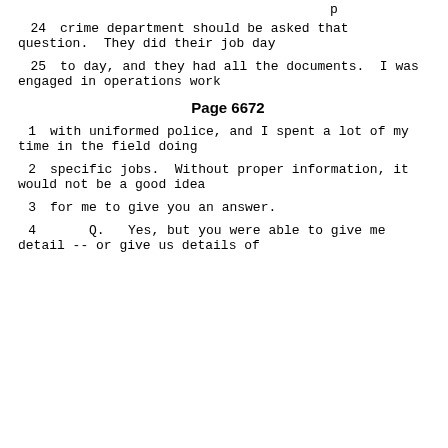p
24      crime department should be asked that question.  They did their job day
25      to day, and they had all the documents.  I was engaged in operations work
Page 6672
1      with uniformed police, and I spent a lot of my time in the field doing
2      specific jobs.  Without proper information, it would not be a good idea
3      for me to give you an answer.
4         Q.   Yes, but you were able to give me detail -- or give us details of